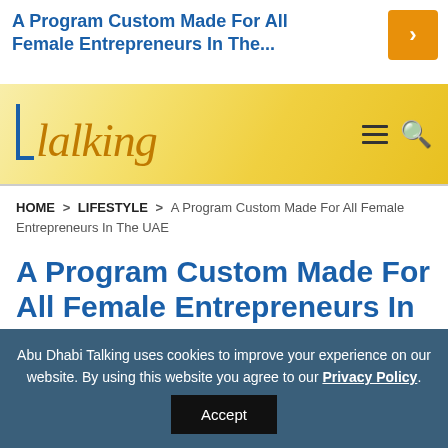A Program Custom Made For All Female Entrepreneurs In The...
[Figure (logo): Abu Dhabi Talking website logo — golden/yellow banner with blue bracket and italic script 'Talking' text, hamburger menu and search icon on the right]
HOME > LIFESTYLE > A Program Custom Made For All Female Entrepreneurs In The UAE
A Program Custom Made For All Female Entrepreneurs In The UAE
2 years ago
Abu Dhabi Talking uses cookies to improve your experience on our website. By using this website you agree to our Privacy Policy. Accept